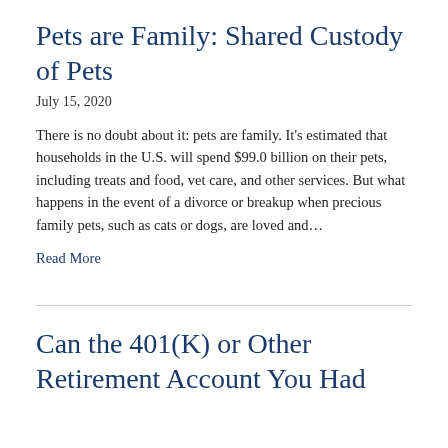Pets are Family: Shared Custody of Pets
July 15, 2020
There is no doubt about it: pets are family. It’s estimated that households in the U.S. will spend $99.0 billion on their pets, including treats and food, vet care, and other services. But what happens in the event of a divorce or breakup when precious family pets, such as cats or dogs, are loved and…
Read More
Can the 401(K) or Other Retirement Account You Had